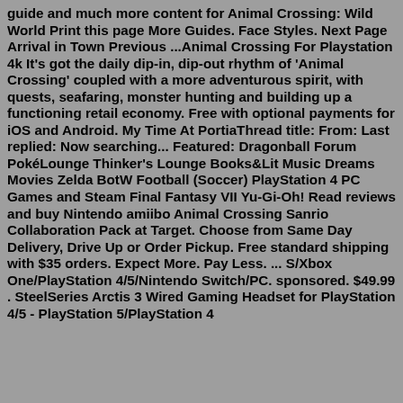guide and much more content for Animal Crossing: Wild World Print this page More Guides. Face Styles. Next Page Arrival in Town Previous ...Animal Crossing For Playstation 4k It's got the daily dip-in, dip-out rhythm of 'Animal Crossing' coupled with a more adventurous spirit, with quests, seafaring, monster hunting and building up a functioning retail economy. Free with optional payments for iOS and Android. My Time At PortiaThread title: From: Last replied: Now searching... Featured: Dragonball Forum PokéLounge Thinker's Lounge Books&Lit Music Dreams Movies Zelda BotW Football (Soccer) PlayStation 4 PC Games and Steam Final Fantasy VII Yu-Gi-Oh! Read reviews and buy Nintendo amiibo Animal Crossing Sanrio Collaboration Pack at Target. Choose from Same Day Delivery, Drive Up or Order Pickup. Free standard shipping with $35 orders. Expect More. Pay Less. ... S/Xbox One/PlayStation 4/5/Nintendo Switch/PC. sponsored. $49.99 . SteelSeries Arctis 3 Wired Gaming Headset for PlayStation 4/5 - PlayStation 5/PlayStation 4